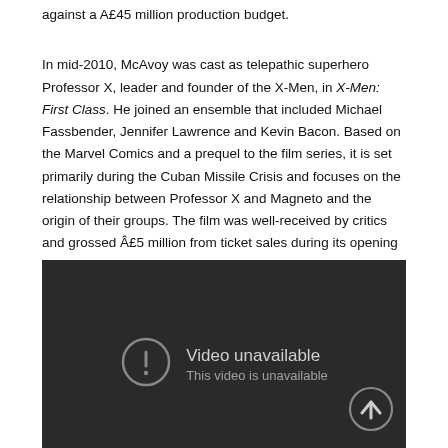against a Â£45 million production budget.
In mid-2010, McAvoy was cast as telepathic superhero Professor X, leader and founder of the X-Men, in X-Men: First Class. He joined an ensemble that included Michael Fassbender, Jennifer Lawrence and Kevin Bacon. Based on the Marvel Comics and a prequel to the film series, it is set primarily during the Cuban Missile Crisis and focuses on the relationship between Professor X and Magneto and the origin of their groups. The film was well-received by critics and grossed Â£5 million from ticket sales during its opening weekend.
[Figure (screenshot): Embedded video player showing 'Video unavailable' message with an exclamation mark icon and an up-arrow button in the bottom right corner. The background is dark/black.]